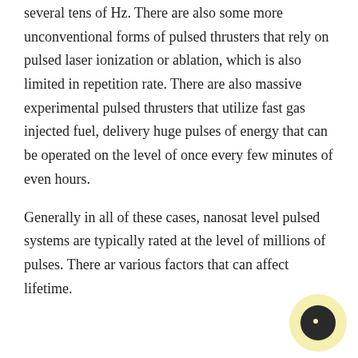several tens of Hz. There are also some more unconventional forms of pulsed thrusters that rely on pulsed laser ionization or ablation, which is also limited in repetition rate. There are also massive experimental pulsed thrusters that utilize fast gas injected fuel, delivery huge pulses of energy that can be operated on the level of once every few minutes of even hours.
Generally in all of these cases, nanosat level pulsed systems are typically rated at the level of millions of pulses. There are various factors that can affect lifetime.